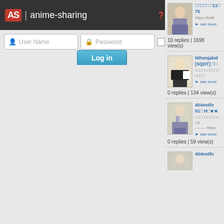AS | anime-sharing   Help   Register
User Name  Password  Log in
□□□□□ □11□ 75
https://katfi
▸ see more
10 replies | 1698 view(s)
Nihonjakid
[SQDT] □□
□□□□□□□□□□ □□□□
▸ see more
0 replies | 134 view(s)
404notfo
01□ H□★★
□□□□□□□□□□ □0
-------- https:
▸ see more
0 replies | 59 view(s)
404notfo